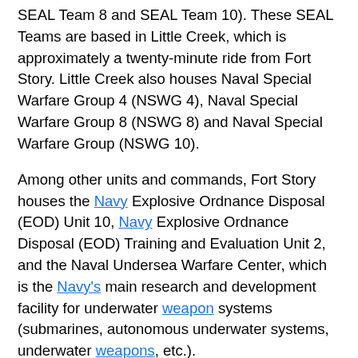SEAL Team 8 and SEAL Team 10). These SEAL Teams are based in Little Creek, which is approximately a twenty-minute ride from Fort Story. Little Creek also houses Naval Special Warfare Group 4 (NSWG 4), Naval Special Warfare Group 8 (NSWG 8) and Naval Special Warfare Group (NSWG 10).
Among other units and commands, Fort Story houses the Navy Explosive Ordnance Disposal (EOD) Unit 10, Navy Explosive Ordnance Disposal (EOD) Training and Evaluation Unit 2, and the Naval Undersea Warfare Center, which is the Navy's main research and development facility for underwater weapon systems (submarines, autonomous underwater systems, underwater weapons, etc.).
SEAL Team 6, also known as the Naval Special Warfare Development Group (DEVGRU), is headquartered in NAS Oceana Dam Neck Annex. Dam Neck is approximately 10 miles south of Fort Story. DEVGRU is the Navy's direct action counterterrorism Special Mission Unit (SMU) and falls